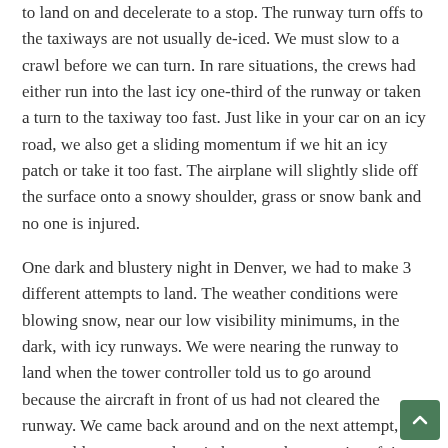to land on and decelerate to a stop. The runway turn offs to the taxiways are not usually de-iced. We must slow to a crawl before we can turn. In rare situations, the crews had either run into the last icy one-third of the runway or taken a turn to the taxiway too fast. Just like in your car on an icy road, we also get a sliding momentum if we hit an icy patch or take it too fast. The airplane will slightly slide off the surface onto a snowy shoulder, grass or snow bank and no one is injured.
One dark and blustery night in Denver, we had to make 3 different attempts to land. The weather conditions were blowing snow, near our low visibility minimums, in the dark, with icy runways. We were nearing the runway to land when the tower controller told us to go around because the aircraft in front of us had not cleared the runway. We came back around and on the next attempt, we were told to go around again because the next aircraft in front of us had just reported the braking action was “poor”